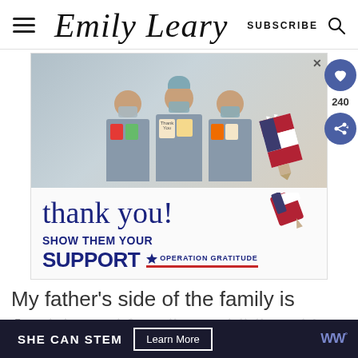Emily Leary — SUBSCRIBE [search icon]
[Figure (photo): Operation Gratitude advertisement showing three healthcare workers in scrubs and masks holding greeting cards, with text 'thank you! SHOW THEM YOUR SUPPORT OPERATION GRATITUDE' and a patriotic pencil graphic]
My father's side of the family is
J... [partially visible text]
p... [partially visible bottom text]
SHE CAN STEM  Learn More